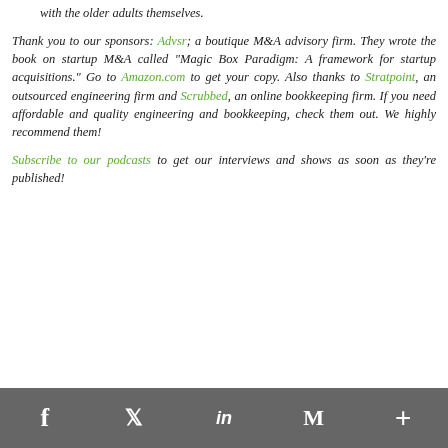working with the family caregiver, you can see better results with the older adults themselves.
Thank you to our sponsors: Advsr; a boutique M&A advisory firm. They wrote the book on startup M&A called "Magic Box Paradigm: A framework for startup acquisitions." Go to Amazon.com to get your copy. Also thanks to Stratpoint, an outsourced engineering firm and Scrubbed, an online bookkeeping firm. If you need affordable and quality engineering and bookkeeping, check them out. We highly recommend them!
Subscribe to our podcasts to get our interviews and shows as soon as they're published!
f  twitter  in  M  +